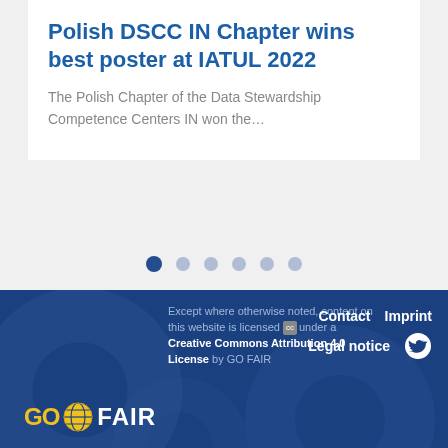Polish DSCC IN Chapter wins best poster at IATUL 2022
The Polish Chapter of the Data Stewardship Competence Centers IN won the…
[Figure (other): Pagination dots: 6 circular indicators, first one active (dark blue), rest light grey-blue]
[Figure (logo): GO FAIR logo in footer: GO in yellow, globe icon, FAIR in white]
Except where otherwise noted, content on this website is licensed under a Creative Commons Attribution 4.0 License by GO FAIR
Contact  Imprint  Legal notice  [Twitter icon]